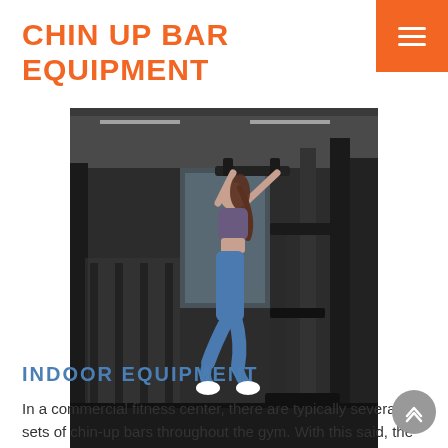CHIN UP BAR EQUIPMENT
[Figure (photo): Woman performing a chin-up on a commercial gym machine, wearing blue athletic outfit, gym equipment visible in background]
INDOOR EQUIPMENT
In a commercial fitness center, there are typically several sets of chin-up bars throughout the gym. With this said, the